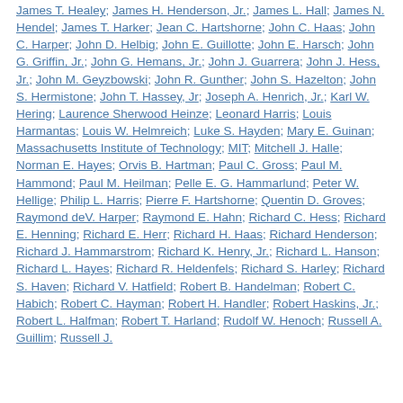James T. Healey; James H. Henderson, Jr.; James L. Hall; James N. Hendel; James T. Harker; Jean C. Hartshorne; John C. Haas; John C. Harper; John D. Helbig; John E. Guillotte; John E. Harsch; John G. Griffin, Jr.; John G. Hemans, Jr.; John J. Guarrera; John J. Hess, Jr.; John M. Geyzbowski; John R. Gunther; John S. Hazelton; John S. Hermistone; John T. Hassey, Jr; Joseph A. Henrich, Jr.; Karl W. Hering; Laurence Sherwood Heinze; Leonard Harris; Louis Harmantas; Louis W. Helmreich; Luke S. Hayden; Mary E. Guinan; Massachusetts Institute of Technology; MIT; Mitchell J. Halle; Norman E. Hayes; Orvis B. Hartman; Paul C. Gross; Paul M. Hammond; Paul M. Heilman; Pelle E. G. Hammarlund; Peter W. Hellige; Philip L. Harris; Pierre F. Hartshorne; Quentin D. Groves; Raymond deV. Harper; Raymond E. Hahn; Richard C. Hess; Richard E. Henning; Richard E. Herr; Richard H. Haas; Richard Henderson; Richard J. Hammarstrom; Richard K. Henry, Jr.; Richard L. Hanson; Richard L. Hayes; Richard R. Heldenfels; Richard S. Harley; Richard S. Haven; Richard V. Hatfield; Robert B. Handelman; Robert C. Habich; Robert C. Hayman; Robert H. Handler; Robert Haskins, Jr.; Robert L. Halfman; Robert T. Harland; Rudolf W. Henoch; Russell A. Guillim; Russell J...